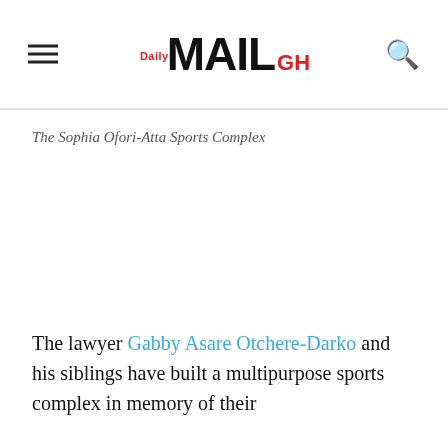Daily MAIL GH
The Sophia Ofori-Atta Sports Complex
The lawyer Gabby Asare Otchere-Darko and his siblings have built a multipurpose sports complex in memory of their